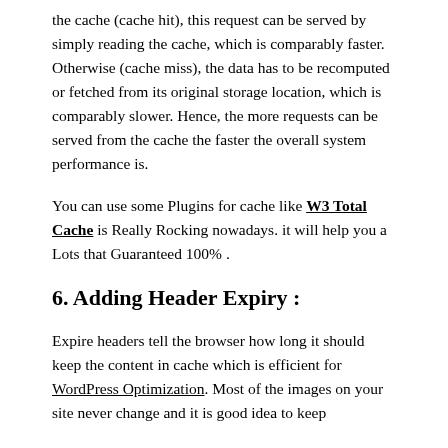the cache (cache hit), this request can be served by simply reading the cache, which is comparably faster. Otherwise (cache miss), the data has to be recomputed or fetched from its original storage location, which is comparably slower. Hence, the more requests can be served from the cache the faster the overall system performance is.
You can use some Plugins for cache like W3 Total Cache is Really Rocking nowadays. it will help you a Lots that Guaranteed 100% .
6. Adding Header Expiry :
Expire headers tell the browser how long it should keep the content in cache which is efficient for WordPress Optimization. Most of the images on your site never change and it is good idea to keep